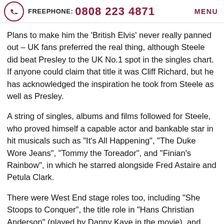FREEPHONE: 0808 223 4871  MENU
Plans to make him the ‘British Elvis’ never really panned out – UK fans preferred the real thing, although Steele did beat Presley to the UK No.1 spot in the singles chart. If anyone could claim that title it was Cliff Richard, but he has acknowledged the inspiration he took from Steele as well as Presley.
A string of singles, albums and films followed for Steele, who proved himself a capable actor and bankable star in hit musicals such as “It’s All Happening”, “The Duke Wore Jeans”, “Tommy the Toreador”, and “Finian’s Rainbow”, in which he starred alongside Fred Astaire and Petula Clark.
There were West End stage roles too, including “She Stoops to Conquer”, the title role in “Hans Christian Anderson” (played by Danny Kaye in the movie), and “Half a Sixpence”, specially written for Steele and leading to him also starring in the film version alongside Julia Foster.